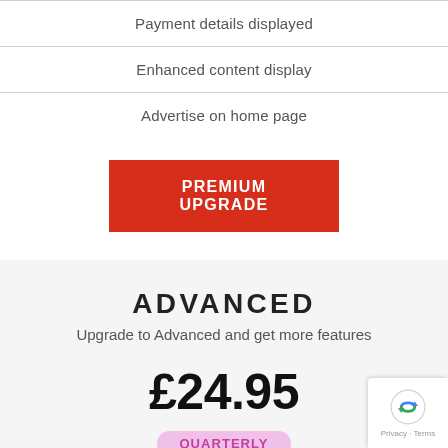Payment details displayed
Enhanced content display
Advertise on home page
PREMIUM UPGRADE
ADVANCED
Upgrade to Advanced and get more features
£24.95
QUARTERLY